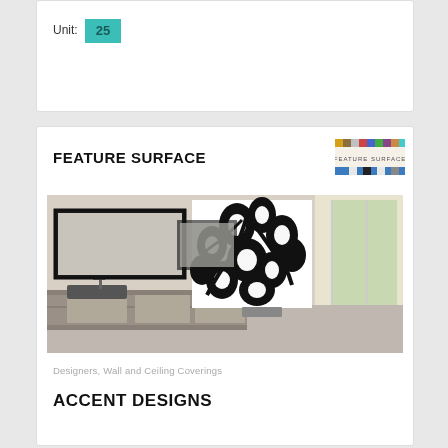Unit: 25
FEATURE SURFACE
[Figure (logo): Feature Surface logo with colorful tile squares]
[Figure (photo): Modern bathroom interior with decorative black floral panel screen, mirror, dark sink vanity, and large window with garden view]
Designers, Wall and Ceiling Coverings
ACCENT DESIGNS